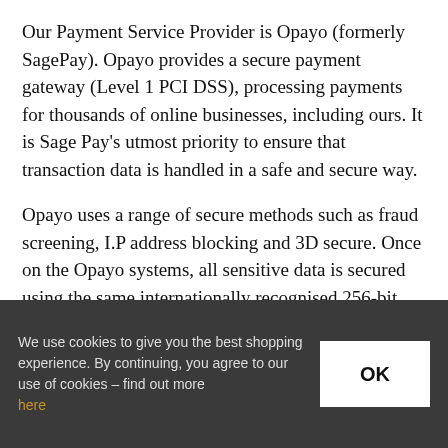Our Payment Service Provider is Opayo (formerly SagePay). Opayo provides a secure payment gateway (Level 1 PCI DSS), processing payments for thousands of online businesses, including ours. It is Sage Pay's utmost priority to ensure that transaction data is handled in a safe and secure way.
Opayo uses a range of secure methods such as fraud screening, I.P address blocking and 3D secure. Once on the Opayo systems, all sensitive data is secured using the same internationally recognised 256-bit encryption standards.
We use cookies to give you the best shopping experience. By continuing, you agree to our use of cookies – find out more here